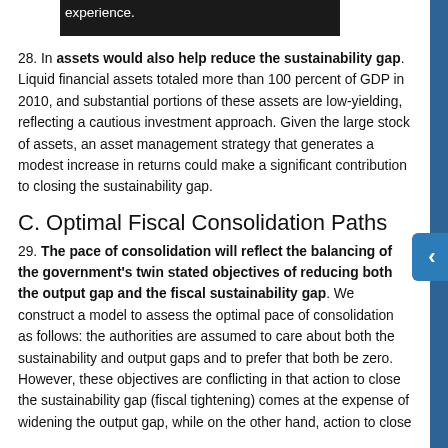28. In [obscured by black bar] experience. assets would also help reduce the sustainability gap. Liquid financial assets totaled more than 100 percent of GDP in 2010, and substantial portions of these assets are low-yielding, reflecting a cautious investment approach. Given the large stock of assets, an asset management strategy that generates a modest increase in returns could make a significant contribution to closing the sustainability gap.
C. Optimal Fiscal Consolidation Paths
29. The pace of consolidation will reflect the balancing of the government's twin stated objectives of reducing both the output gap and the fiscal sustainability gap. We construct a model to assess the optimal pace of consolidation as follows: the authorities are assumed to care about both the sustainability and output gaps and to prefer that both be zero. However, these objectives are conflicting in that action to close the sustainability gap (fiscal tightening) comes at the expense of widening the output gap, while on the other hand, action to close